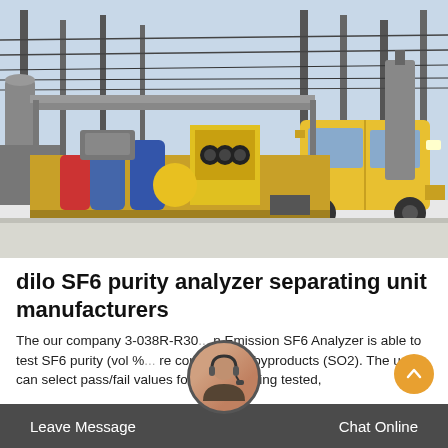[Figure (photo): Yellow SF6 gas service truck parked at an electrical substation with high-voltage equipment and power lines in the background. The truck has equipment mounted on its flatbed including yellow tanks and a control panel.]
dilo SF6 purity analyzer separating unit manufacturers
The our company 3-038R-R30... n Emission SF6 Analyzer is able to test SF6 purity (vol % ... re content, and byproducts (SO2). The user can select pass/fail values for the gas being tested,
Leave Message    Chat Online